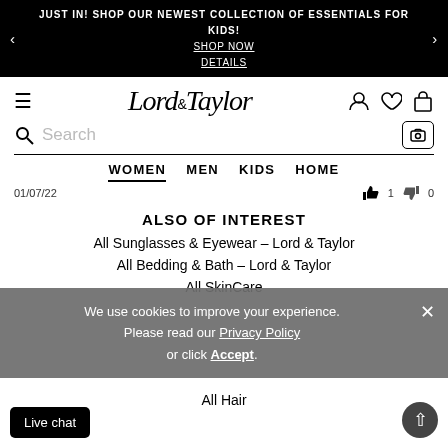JUST IN! SHOP OUR NEWEST COLLECTION OF ESSENTIALS FOR KIDS! SHOP NOW DETAILS
[Figure (logo): Lord & Taylor script logo with hamburger menu, user icon, heart icon, and shopping bag icon]
Search
WOMEN   MEN   KIDS   HOME
01/07/22   thumbs up 1   thumbs down 0
ALSO OF INTEREST
All Sunglasses & Eyewear – Lord & Taylor
All Bedding & Bath – Lord & Taylor
All SkinCare
We use cookies to improve your experience. Please read our Privacy Policy or click Accept.
All Hair
Live chat
↑